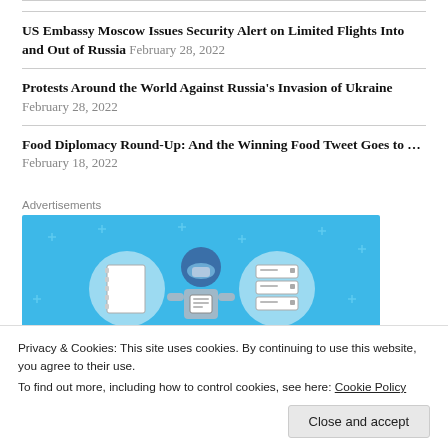US Embassy Moscow Issues Security Alert on Limited Flights Into and Out of Russia February 28, 2022
Protests Around the World Against Russia's Invasion of Ukraine February 28, 2022
Food Diplomacy Round-Up: And the Winning Food Tweet Goes to … February 18, 2022
Advertisements
[Figure (illustration): Advertisement banner with light blue background showing a cartoon person holding a tablet, with a notebook icon on the left and a server/database icon on the right, decorated with small star/cross shapes.]
Privacy & Cookies: This site uses cookies. By continuing to use this website, you agree to their use. To find out more, including how to control cookies, see here: Cookie Policy